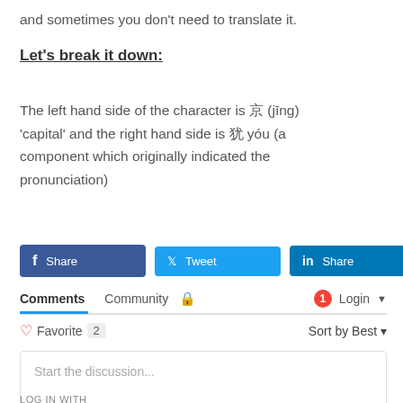and sometimes you don't need to translate it.
Let's break it down:
The left hand side of the character is 京 (jīng) 'capital' and the right hand side is 犹 yóu (a component which originally indicated the pronunciation)
[Figure (screenshot): Social share buttons: Facebook Share, Twitter Tweet, LinkedIn Share]
Comments  Community  🔒  1  Login ▾
♡ Favorite  2   Sort by Best ▾
Start the discussion...
LOG IN WITH